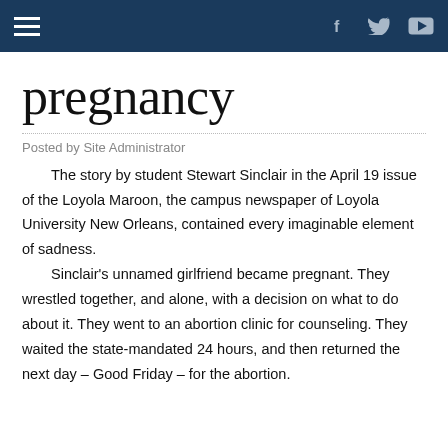pregnancy
Posted by Site Administrator
The story by student Stewart Sinclair in the April 19 issue of the Loyola Maroon, the campus newspaper of Loyola University New Orleans, contained every imaginable element of sadness.
    Sinclair's unnamed girlfriend became pregnant. They wrestled together, and alone, with a decision on what to do about it. They went to an abortion clinic for counseling. They waited the state-mandated 24 hours, and then returned the next day – Good Friday – for the abortion.